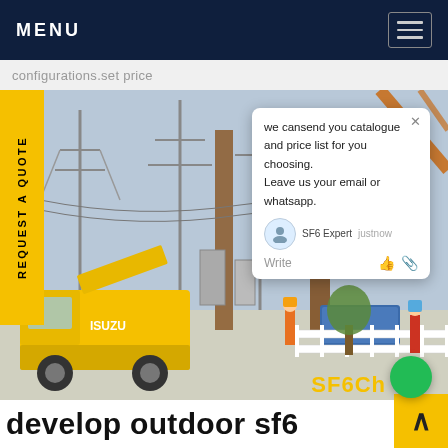MENU
configurations.set price
[Figure (photo): Outdoor electrical substation with high-voltage transmission towers and a yellow Isuzu truck in the foreground. Workers visible near white fence. Construction crane in background.]
REQUEST A QUOTE
we cansend you catalogue and price list for you choosing. Leave us your email or whatsapp.
SF6 Expert   justnow
Write
SF6Ch
develop outdoor sf6